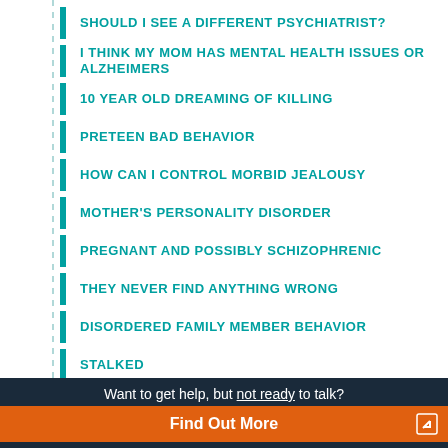SHOULD I SEE A DIFFERENT PSYCHIATRIST?
I THINK MY MOM HAS MENTAL HEALTH ISSUES OR ALZHEIMERS
10 YEAR OLD DREAMING OF KILLING
PRETEEN BAD BEHAVIOR
HOW CAN I CONTROL MORBID JEALOUSY
MOTHER'S PERSONALITY DISORDER
PREGNANT AND POSSIBLY SCHIZOPHRENIC
THEY NEVER FIND ANYTHING WRONG
DISORDERED FAMILY MEMBER BEHAVIOR
STALKED
Want to get help, but not ready to talk?
Find Out More